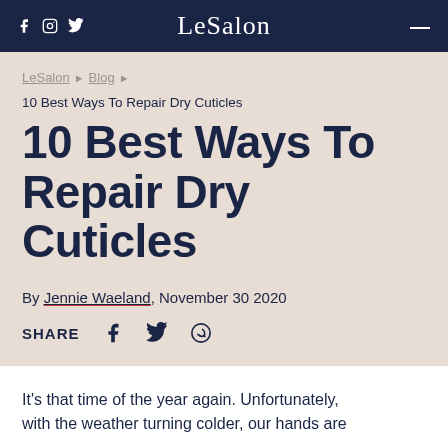LeSalon
LeSalon › Blog ›
10 Best Ways To Repair Dry Cuticles
10 Best Ways To Repair Dry Cuticles
By Jennie Waeland, November 30 2020
SHARE
It's that time of the year again. Unfortunately, with the weather turning colder, our hands are